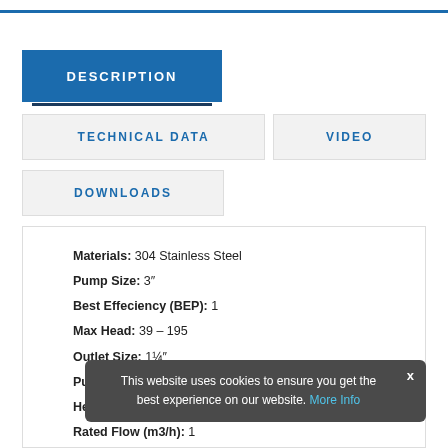DESCRIPTION
TECHNICAL DATA
VIDEO
DOWNLOADS
Materials: 304 Stainless Steel
Pump Size: 3"
Best Effeciency (BEP): 1
Max Head: 39 – 195
Outlet Size: 1¼"
Pump Type: Constant Flow
Head at Rated Flow (m): 25
Rated Flow (m3/h): 1
Voltage: 230
The 3"WPS® submersible pumps are the only 3"
This website uses cookies to ensure you get the best experience on our website. More Info